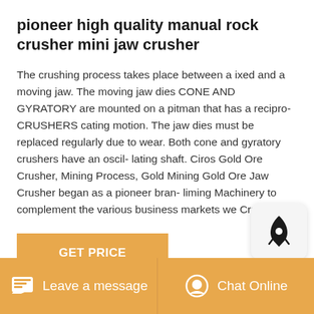pioneer high quality manual rock crusher mini jaw crusher
The crushing process takes place between a ixed and a moving jaw. The moving jaw dies CONE AND GYRATORY are mounted on a pitman that has a recipro- CRUSHERS cating motion. The jaw dies must be replaced regularly due to wear. Both cone and gyratory crushers have an oscil- lating shaft. Ciros Gold Ore Crusher, Mining Process, Gold Mining Gold Ore Jaw Crusher began as a pioneer bran- liming Machinery to complement the various business markets we Crusher
GET PRICE
Leave a message  Chat Online